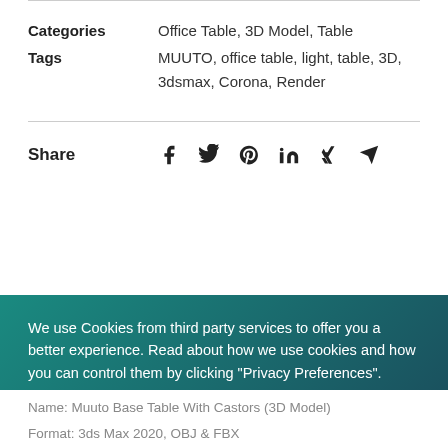Categories: Office Table, 3D Model, Table
Tags: MUUTO, office table, light, table, 3D, 3dsmax, Corona, Render
Share (with social icons: Facebook, Twitter, Pinterest, LinkedIn, Xing, Telegram)
We use Cookies from third party services to offer you a better experience. Read about how we use cookies and how you can control them by clicking "Privacy Preferences".
Privacy Preferences
I Agree
Name: Muuto Base Table With Castors (3D Model)
Format: 3ds Max 2020, OBJ & FBX